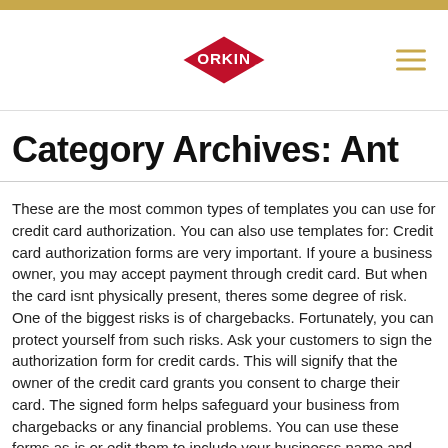Orkin logo and navigation header
Category Archives: Ant
These are the most common types of templates you can use for credit card authorization. You can also use templates for: Credit card authorization forms are very important. If youre a business owner, you may accept payment through credit card. But when the card isnt physically present, theres some degree of risk. One of the biggest risks is of chargebacks. Fortunately, you can protect yourself from such risks. Ask your customers to sign the authorization form for credit cards. This will signify that the owner of the credit card grants you consent to charge their card. The signed form helps safeguard your business from chargebacks or any financial problems. You can use these forms as-is or edit them to include your businesss name and logo or specific language related to the use of the card (credit card charge authorization and